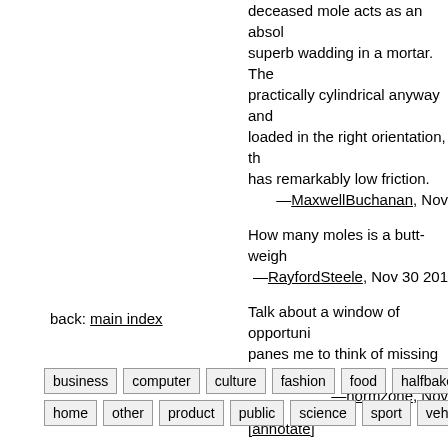deceased mole acts as an abso… superb wadding in a mortar. They practically cylindrical anyway and loaded in the right orientation, the has remarkably low friction. —MaxwellBuchanan, Nov
How many moles is a butt-weigh… —RayfordSteele, Nov 30 201…
Talk about a window of opportuni… panes me to think of missing it. —normzone, Nov
[annotate]
back: main index
business  computer  culture  fashion  food  halfbakery  home  other  product  public  science  sport  vehicle